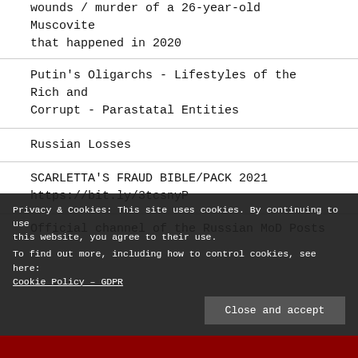wounds / murder of a 26-year-old Muscovite that happened in 2020
Putin's Oligarchs - Lifestyles of the Rich and Corrupt - Parastatal Entities
Russian Losses
SCARLETTA’S FRAUD BIBLE/PACK 2021 https://bit.ly/3tcsnyP
Official channel of the Russian MoD Posts
Privacy & Cookies: This site uses cookies. By continuing to use this website, you agree to their use.
To find out more, including how to control cookies, see here: Cookie Policy – GDPR
Close and accept